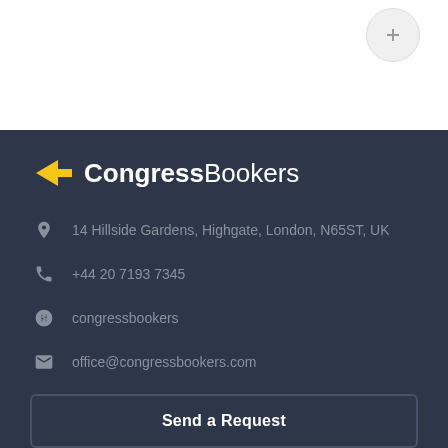[Figure (logo): CongressBookers logo with yellow arrow/bookmark icon and bold white text]
14 Hillside Gardens, Highgate, London, N65ST, UK
+44 20 7193 7345
congressbookers
office@congressbookers.com
Send a Request
Map site